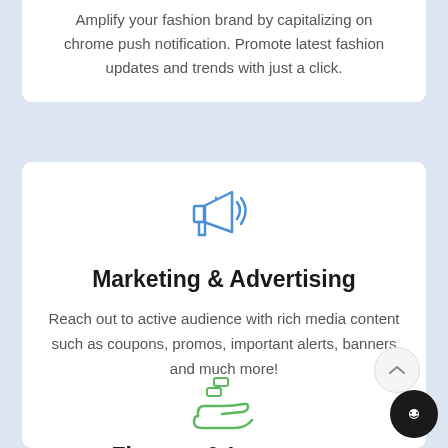Amplify your fashion brand by capitalizing on chrome push notification. Promote latest fashion updates and trends with just a click.
[Figure (illustration): Blue megaphone/bullhorn icon outline]
Marketing & Advertising
Reach out to active audience with rich media content such as coupons, promos, important alerts, banners and much more!
[Figure (illustration): Green hand holding coins / money icon outline]
Finance & Insurance
Send notifications related to banking,